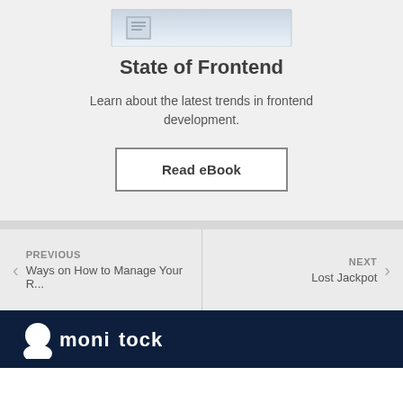[Figure (illustration): Partial view of a book cover for 'State of Frontend' against a light grey background]
State of Frontend
Learn about the latest trends in frontend development.
Read eBook
PREVIOUS
Ways on How to Manage Your R...
NEXT
Lost Jackpot
[Figure (logo): White logo of a website/brand on dark navy background, showing a cartoon figure head and stylized text]